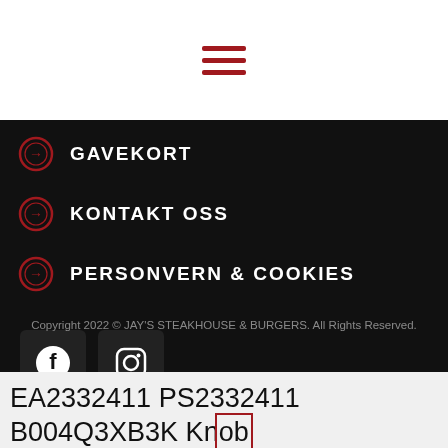[Figure (screenshot): Hamburger menu icon with three dark red horizontal lines on white background]
GAVEKORT
KONTAKT OSS
PERSONVERN & COOKIES
[Figure (screenshot): Social media icons: Facebook and Instagram square buttons on dark background]
Copyright 2022 © JAY'S STEAKHOUSE & BURGERS. All Rights Reserved.
EA2332411 PS2332411 B004Q3XB3K Knob Compatible with Kenmore Range